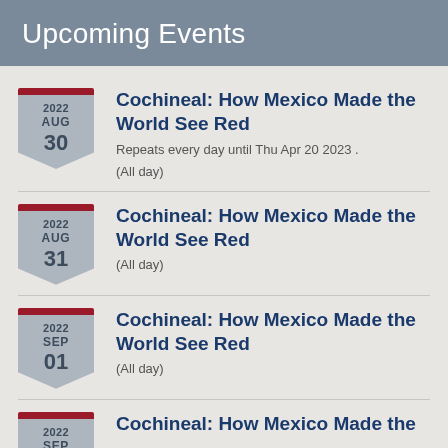Upcoming Events
2022 AUG 30 — Cochineal: How Mexico Made the World See Red
Repeats every day until Thu Apr 20 2023 .
(All day)
2022 AUG 31 — Cochineal: How Mexico Made the World See Red
(All day)
2022 SEP 01 — Cochineal: How Mexico Made the World See Red
(All day)
2022 SEP — Cochineal: How Mexico Made the